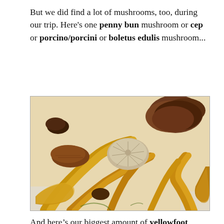But we did find a lot of mushrooms, too, during our trip. Here's one penny bun mushroom or cep or porcino/porcini or boletus edulis mushroom...
[Figure (photo): A large collection of mixed wild mushrooms piled together in what appears to be a container lined with white paper or plastic. The mushrooms include yellowfoot/chanterelle types with golden-yellow stems, brown-capped mushrooms, and various other species showing caps and gills.]
And here's our biggest amount of yellowfoot mushrooms...